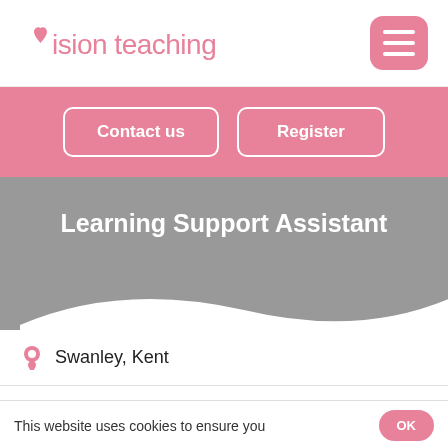[Figure (logo): Vision Teaching logo with pink heart icon and pink text]
[Figure (other): Hamburger menu button, pink rounded square with three white lines]
Contact us
Register
Learning Support Assistant
Swanley, Kent
This website uses cookies to ensure you